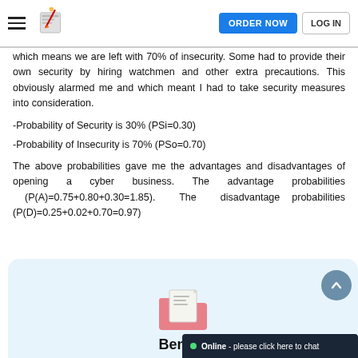ORDER NOW | LOG IN
which means we are left with 70% of insecurity. Some had to provide their own security by hiring watchmen and other extra precautions. This obviously alarmed me and which meant I had to take security measures into consideration.
-Probability of Security is 30% (PSi=0.30)
-Probability of Insecurity is 70% (PSo=0.70)
The above probabilities gave me the advantages and disadvantages of opening a cyber business. The advantage probabilities (P(A)=0.75+0.80+0.30=1.85). The disadvantage probabilities (P(D)=0.25+0.02+0.70=0.97)
[Figure (illustration): Folder/document icon illustration inside a light blue card, with 'Benefit' title text below]
Online - please click here to chat